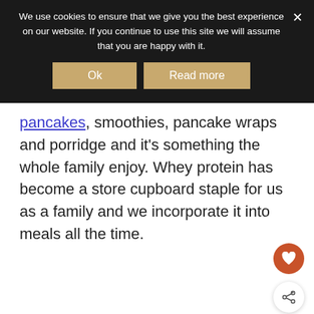We use cookies to ensure that we give you the best experience on our website. If you continue to use this site we will assume that you are happy with it.
Ok | Read more
pancakes, smoothies, pancake wraps and porridge and it's something the whole family enjoy. Whey protein has become a store cupboard staple for us as a family and we incorporate it into meals all the time.
WHAT'S NEXT → 10 Tips for a Healthy...